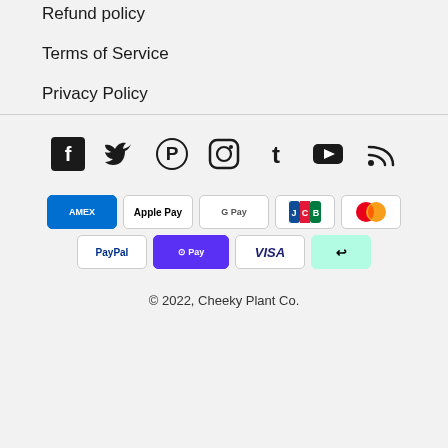Refund policy
Terms of Service
Privacy Policy
[Figure (infographic): Row of social media icons: Facebook, Twitter, Pinterest, Instagram, Tumblr, YouTube, RSS]
[Figure (infographic): Row of payment method badges: American Express, Apple Pay, Google Pay, JCB, Mastercard, PayPal, Shop Pay, Visa, Afterpay]
© 2022, Cheeky Plant Co.